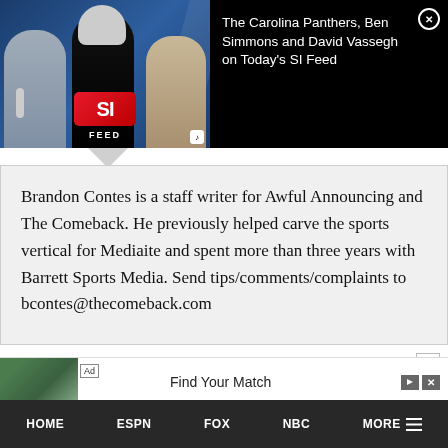[Figure (screenshot): SI Feed video thumbnail with sports personalities and SI Feed logo on blue background]
The Carolina Panthers, Ben Simmons and David Vassegh on Today's SI Feed
Brandon Contes is a staff writer for Awful Announcing and The Comeback. He previously helped carve the sports vertical for Mediaite and spent more than three years with Barrett Sports Media. Send tips/comments/complaints to bcontes@thecomeback.com
[Figure (screenshot): Advertisement banner: Ad | Find Your Match with landscape photo]
HOME  ESPN  FOX  NBC  MORE